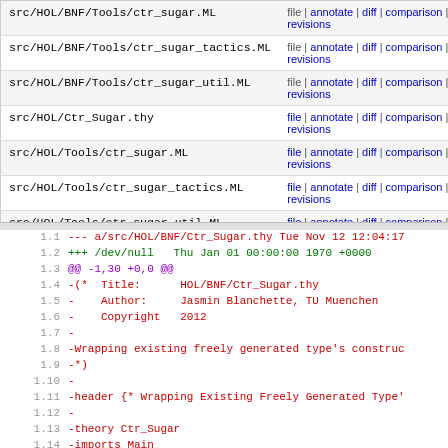| Path | Actions |
| --- | --- |
| src/HOL/BNF/Tools/ctr_sugar.ML | file | annotate | diff | comparison | revisions |
| src/HOL/BNF/Tools/ctr_sugar_tactics.ML | file | annotate | diff | comparison | revisions |
| src/HOL/BNF/Tools/ctr_sugar_util.ML | file | annotate | diff | comparison | revisions |
| src/HOL/Ctr_Sugar.thy | file | annotate | diff | comparison | revisions |
| src/HOL/Tools/ctr_sugar.ML | file | annotate | diff | comparison | revisions |
| src/HOL/Tools/ctr_sugar_tactics.ML | file | annotate | diff | comparison | revisions |
| src/HOL/Tools/ctr_sugar_util.ML | file | annotate | diff | comparison | revisions |
Diff output showing deletion of src/HOL/BNF/Ctr_Sugar.thy
1.1  --- a/src/HOL/BNF/Ctr_Sugar.thy Tue Nov 12 12:04:17
1.2  +++ /dev/null   Thu Jan 01 00:00:00 1970 +0000
1.3  @@ -1,30 +0,0 @@
1.4  -(*  Title:      HOL/BNF/Ctr_Sugar.thy
1.5  -    Author:     Jasmin Blanchette, TU Muenchen
1.6  -    Copyright   2012
1.7  -
1.8  -Wrapping existing freely generated type's construc...
1.9  -*)
1.10 -
1.11 -header {* Wrapping Existing Freely Generated Type's...
1.12 -
1.13 -theory Ctr_Sugar
1.14 -imports Main
1.15 -keywords
1.16 -  "wrap_free_constructors" :: thy_goal and
1.17 -  "no_discs_sels" and ...